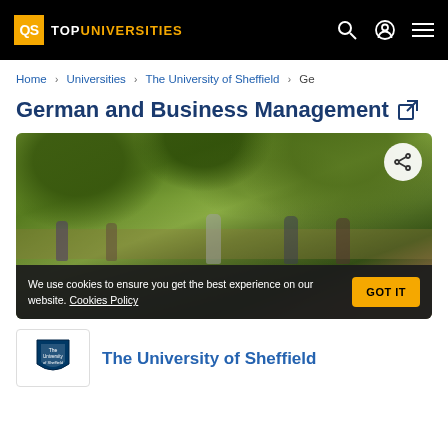QS TOPUNIVERSITIES
Home > Universities > The University of Sheffield > Ge
German and Business Management [external link]
[Figure (photo): Students walking outdoors on a tree-lined campus path in autumn, with green and yellow foliage. A share button is visible in the top-right corner. A cookie consent banner overlays the lower portion: 'We use cookies to ensure you get the best experience on our website. Cookies Policy' with a GOT IT button.]
The University of Sheffield